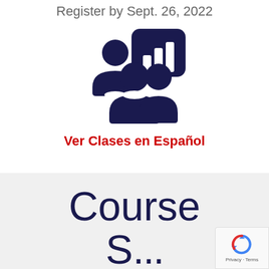Register by Sept. 26, 2022
[Figure (illustration): Icon showing a group of people with a bar chart/presentation screen, representing a class or training session]
Ver Clases en Español
Course
S...